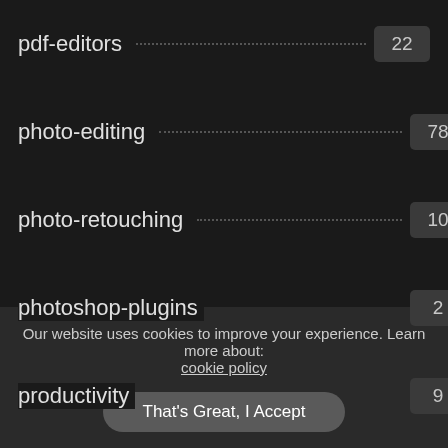pdf-editors 22
photo-editing 78
photo-retouching 10
photoshop-plugins 2
productivity 9
programming 13
religious 4
scada 1
scanning 4
Our website uses cookies to improve your experience. Learn more about: cookie policy
That's Great, I Accept